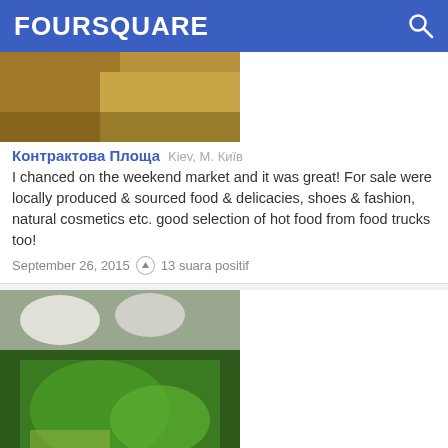FOURSQUARE
[Figure (photo): Thumbnail image of Kontraktova Square market area]
Контрактова Площа  Kiev, М. Київ
I chanced on the weekend market and it was great! For sale were locally produced & sourced food & delicacies, shoes & fashion, natural cosmetics etc. good selection of hot food from food trucks too!
September 26, 2015  ↑ 13 suara positif
[Figure (photo): Thumbnail image of food dish at Ресторація Бачевських]
Ресторація Бачевських  Lviv, Львівська Обл.
My new Lviv favorite. Eastern European cuisine with a modern twist, played beautifully & more importantly delicious. The Lviv salad, mushroom soup & duck main were memorable.
Juni 29, 2015  ↑ 8 suara positif
[Figure (photo): Thumbnail image of third venue]